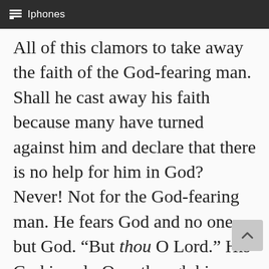Iphones
All of this clamors to take away the faith of the God-fearing man. Shall he cast away his faith because many have turned against him and declare that there is no help for him in God? Never! Not for the God-fearing man. He fears God and no one but God. “But thou O Lord.” His God is only One, though his oppressors be many. God is a shield for me. Arrows may fly from a hundred directions. The one shield of God is sufficient to thwart them all. God is my glory. Though men rob me of my